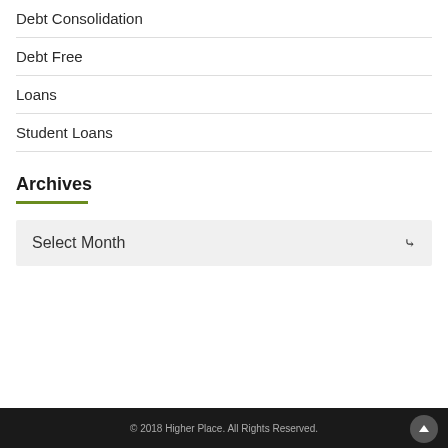Debt Consolidation
Debt Free
Loans
Student Loans
Archives
Select Month
© 2018 Higher Place. All Rights Reserved.